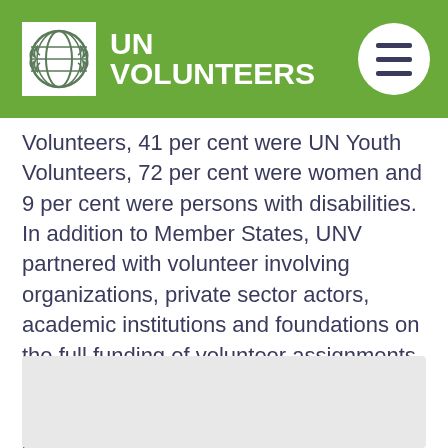UN VOLUNTEERS
Volunteers, 41 per cent were UN Youth Volunteers, 72 per cent were women and 9 per cent were persons with disabilities. In addition to Member States, UNV partnered with volunteer involving organizations, private sector actors, academic institutions and foundations on the full funding of volunteer assignments. These partners included Cisco Corporate Philanthropy, King Mongkut's University of Technology Thonburi in Thailand, and the PeaceNexus Foundation.
[Figure (other): Gray placeholder box at the bottom of the page]